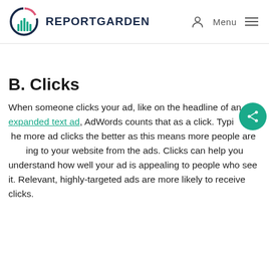REPORTGARDEN
B. Clicks
When someone clicks your ad, like on the headline of an expanded text ad, AdWords counts that as a click. Typically, more ad clicks the better as this means more people are coming to your website from the ads. Clicks can help you understand how well your ad is appealing to people who see it. Relevant, highly-targeted ads are more likely to receive clicks.